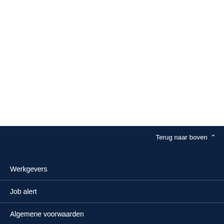Terug naar boven
Werkgevers
Job alert
Algemene voorwaarden